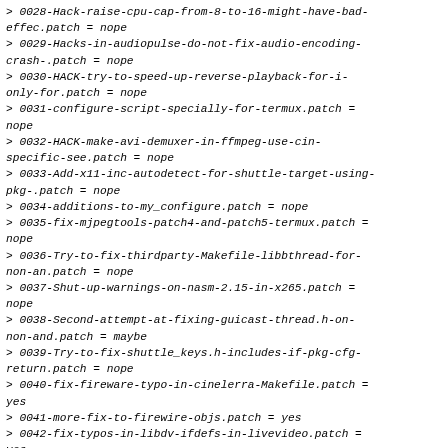> 0028-Hack-raise-cpu-cap-from-8-to-16-might-have-bad-effec.patch = nope
> 0029-Hacks-in-audiopulse-do-not-fix-audio-encoding-crash-.patch = nope
> 0030-HACK-try-to-speed-up-reverse-playback-for-i-only-for.patch = nope
> 0031-configure-script-specially-for-termux.patch = nope
> 0032-HACK-make-avi-demuxer-in-ffmpeg-use-cin-specific-see.patch = nope
> 0033-Add-x11-inc-autodetect-for-shuttle-target-using-pkg-.patch = nope
> 0034-additions-to-my_configure.patch = nope
> 0035-fix-mjpegtools-patch4-and-patch5-termux.patch = nope
> 0036-Try-to-fix-thirdparty-Makefile-libbthread-for-non-an.patch = nope
> 0037-Shut-up-warnings-on-nasm-2.15-in-x265.patch = nope
> 0038-Second-attempt-at-fixing-guicast-thread.h-on-non-and.patch = maybe
> 0039-Try-to-fix-shuttle_keys.h-includes-if-pkg-cfg-return.patch = nope
> 0040-fix-fireware-typo-in-cinelerra-Makefile.patch = yes
> 0041-more-fix-to-firewire-objs.patch  = yes
> 0042-fix-typos-in-libdv-ifdefs-in-livevideo.patch = yes
> 0043-Add-two-more-libx264-patches-for-ffmpe-enable-avcint.patch = nope